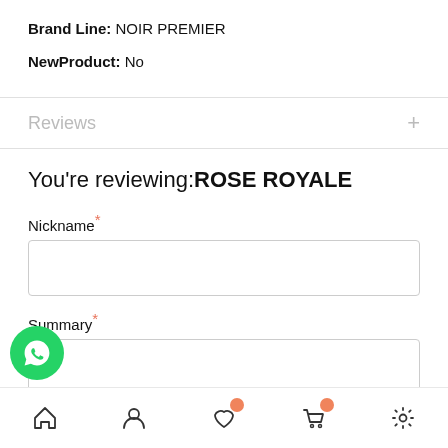Brand Line: NOIR PREMIER
NewProduct: No
Reviews
You're reviewing: ROSE ROYALE
Nickname *
Summary *
Review... *
Home | Account | Wishlist | Cart | Settings